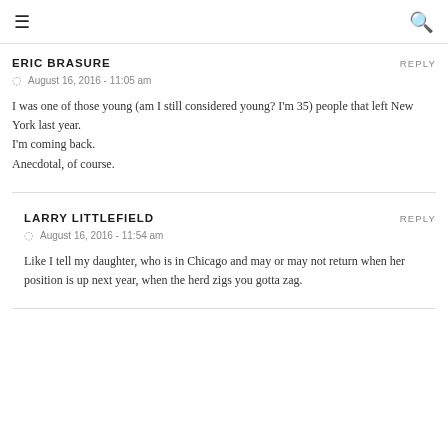≡  🔍
ERIC BRASURE  REPLY
⏱ August 16, 2016 - 11:05 am
I was one of those young (am I still considered young? I'm 35) people that left New York last year.
I'm coming back.
Anecdotal, of course.
LARRY LITTLEFIELD  REPLY
⏱ August 16, 2016 - 11:54 am
Like I tell my daughter, who is in Chicago and may or may not return when her position is up next year, when the herd zigs you gotta zag.